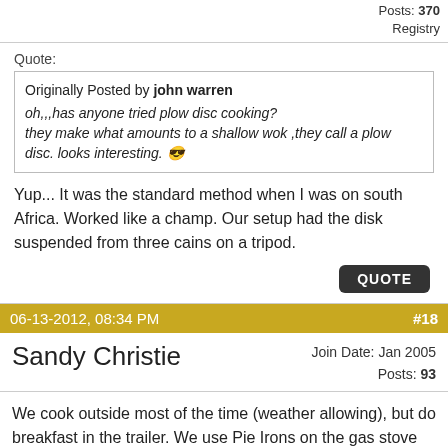fusedlight  Posts: [num]  Registry
Quote:
Originally Posted by john warren
oh,,,has anyone tried plow disc cooking?
they make what amounts to a shallow wok ,they call a plow disc. looks interesting.
Yup... It was the standard method when I was on south Africa. Worked like a champ. Our setup had the disk suspended from three cains on a tripod.
QUOTE
06-13-2012, 08:34 PM  #18
Sandy Christie  Join Date: Jan 2005  Posts: 93
We cook outside most of the time (weather allowing), but do breakfast in the trailer. We use Pie Irons on the gas stove and also use Dutch Ovens. Pie Irons make great sandwiches and desserts. We keep the food simple but try one or two fancier meals a week. We also like to go out for a good meal as a treat.